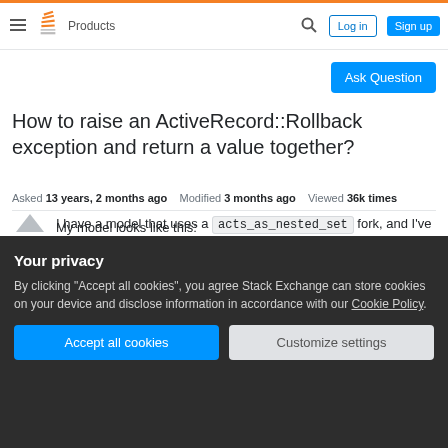Stack Overflow — Products | Log in | Sign up
How to raise an ActiveRecord::Rollback exception and return a value together?
Asked 13 years, 2 months ago  Modified 3 months ago  Viewed 36k times
I have a model that uses a acts_as_nested_set fork, and I've added a method to the model to save the model and move the node into the set in one...
My model looks like this:
Your privacy
By clicking "Accept all cookies", you agree Stack Exchange can store cookies on your device and disclose information in accordance with our Cookie Policy.
Accept all cookies | Customize settings